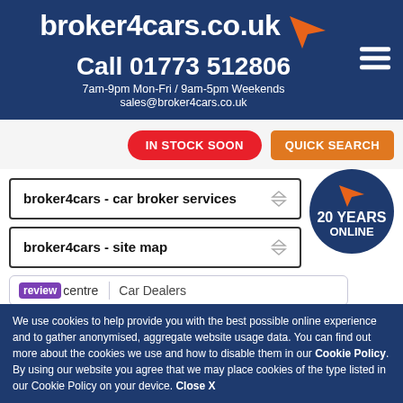broker4cars.co.uk
Call 01773 512806
7am-9pm Mon-Fri / 9am-5pm Weekends
sales@broker4cars.co.uk
IN STOCK SOON
QUICK SEARCH
broker4cars - car broker services
broker4cars - site map
[Figure (logo): Orange arrow cursor icon with text '20 YEARS ONLINE' on dark blue circular badge]
review centre   Car Dealers
We use cookies to help provide you with the best possible online experience and to gather anonymised, aggregate website usage data. You can find out more about the cookies we use and how to disable them in our Cookie Policy. By using our website you agree that we may place cookies of the type listed in our Cookie Policy on your device. Close X